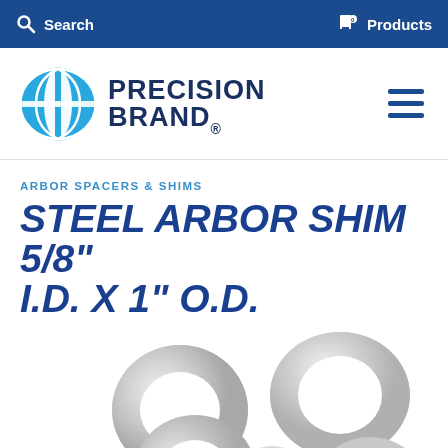Search   Products
[Figure (logo): Precision Brand logo — circular blue globe icon with vertical white lines and PRECISION BRAND text in dark navy bold]
ARBOR SPACERS & SHIMS
STEEL ARBOR SHIM 5/8" I.D. X 1" O.D.
[Figure (photo): Multiple steel arbor shims (ring washers) scattered on white background, showing metallic silver rings of varying sizes]